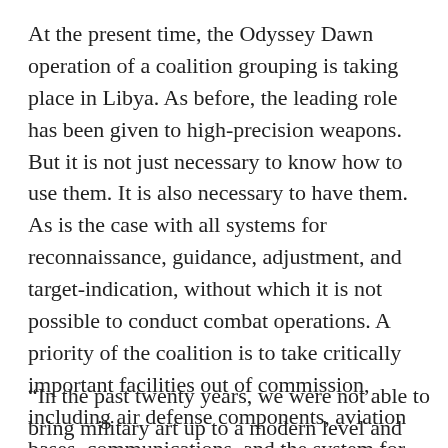At the present time, the Odyssey Dawn operation of a coalition grouping is taking place in Libya. As before, the leading role has been given to high-precision weapons. But it is not just necessary to know how to use them. It is also necessary to have them. As is the case with all systems for reconnaissance, guidance, adjustment, and target-indication, without which it is not possible to conduct combat operations. A priority of the coalition is to take critically important facilities out of commission, including air defense components, aviation bases, communications, and the system for state and military command and control. Strikes are being carried out on the troops who are supporting Kaddafi and 203 Tomahawk cruise missiles have already been used, not counting high-precision aviation bombs, including self-guiding aviation bombs.
“In the past twenty years, we were not able to bring military art up to a modern level and we continued to live with obsolete concepts about the nature of modern wars.”